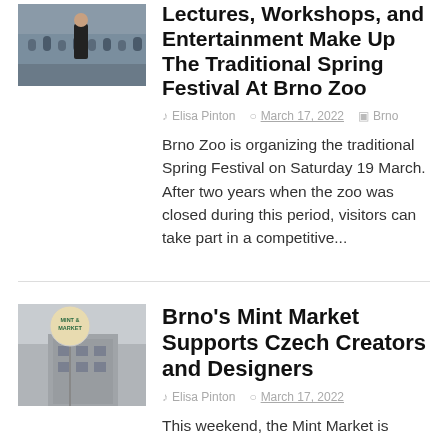[Figure (photo): Thumbnail image of a crowd at a zoo or outdoor event, with a person in dark clothing visible against a crowd background.]
Lectures, Workshops, and Entertainment Make Up The Traditional Spring Festival At Brno Zoo
Elisa Pinton   March 17, 2022   Brno
Brno Zoo is organizing the traditional Spring Festival on Saturday 19 March. After two years when the zoo was closed during this period, visitors can take part in a competitive...
[Figure (photo): Thumbnail image showing a Mint Market sign or balloon with building in background.]
Brno's Mint Market Supports Czech Creators and Designers
Elisa Pinton   March 17, 2022
This weekend, the Mint Market is